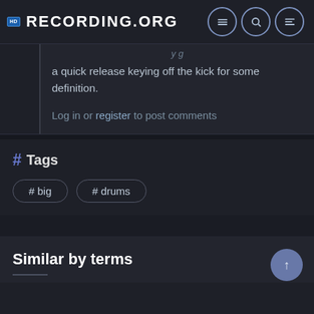RECORDING.ORG
a quick release keying off the kick for some definition.
Log in or register to post comments
# Tags
# big
# drums
Similar by terms